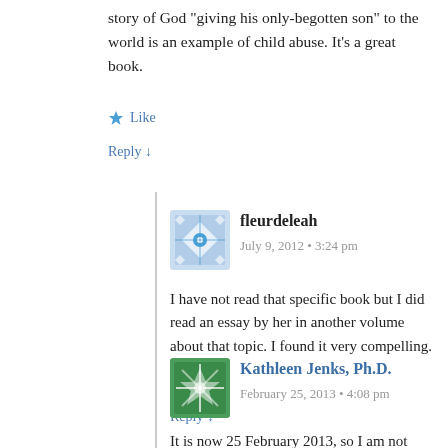story of God “giving his only-begotten son” to the world is an example of child abuse. It’s a great book.
★ Like
Reply ↓
fleurdeleah
July 9, 2012 • 3:24 pm
I have not read that specific book but I did read an essay by her in another volume about that topic. I found it very compelling.
★ Like
Reply ↓
Kathleen Jenks, Ph.D.
February 25, 2013 • 4:08 pm
It is now 25 February 2013, so I am not sure if my